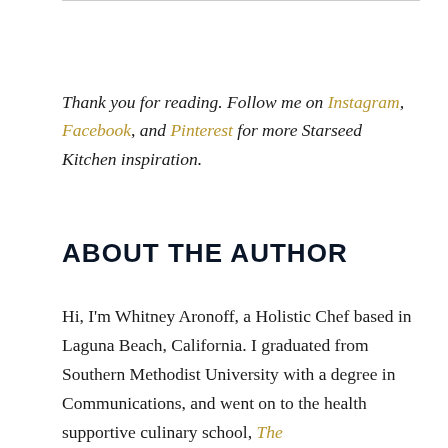Thank you for reading. Follow me on Instagram, Facebook, and Pinterest for more Starseed Kitchen inspiration.
ABOUT THE AUTHOR
Hi, I'm Whitney Aronoff, a Holistic Chef based in Laguna Beach, California. I graduated from Southern Methodist University with a degree in Communications, and went on to the health supportive culinary school, The